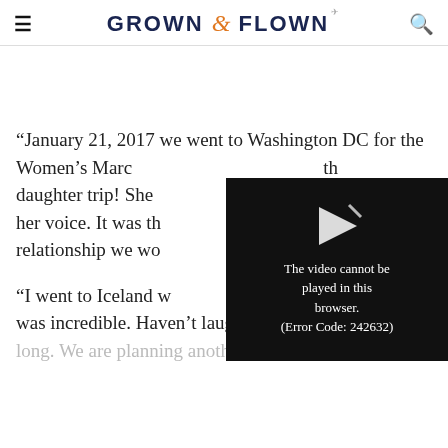GROWN & FLOWN
“January 21, 2017 we went to Washington DC for the Women’s March — it was our first mother daughter trip! She … her voice. It was the … relationship we wo…
[Figure (screenshot): Video player showing error message: The video cannot be played in this browser. (Error Code: 242632)]
“I went to Iceland w… was incredible. Haven’t laughed that hard in so long. We are planning another trip soon.”